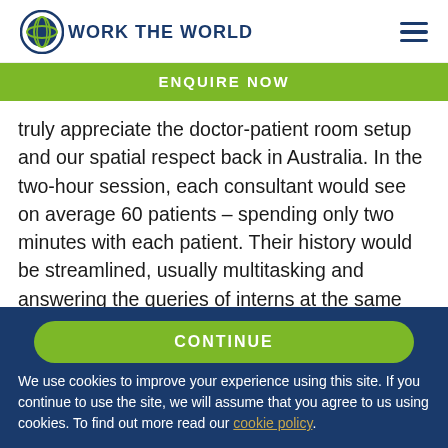[Figure (logo): Work the World logo with globe icon and text]
ENQUIRE NOW
truly appreciate the doctor-patient room setup and our spatial respect back in Australia. In the two-hour session, each consultant would see on average 60 patients – spending only two minutes with each patient. Their history would be streamlined, usually multitasking and answering the queries of interns at the same time. I found this incredible, and it inspired me to believe that with experience, perhaps I too
CONTINUE
We use cookies to improve your experience using this site. If you continue to use the site, we will assume that you agree to us using cookies. To find out more read our cookie policy.